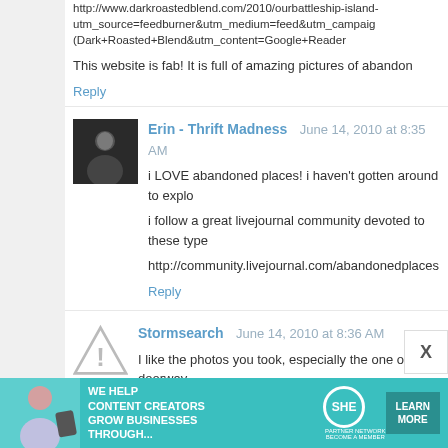http://www.darkroastedblend.com/2010/ourbattleship-island-utm_source=feedburner&utm_medium=feed&utm_campaign=(Dark+Roasted+Blend&utm_content=Google+Reader
This website is fab! It is full of amazing pictures of abandon
Reply
Erin - Thrift Madness   June 14, 2010 at 8:35 AM
i LOVE abandoned places! i haven't gotten around to explo
i follow a great livejournal community devoted to these type
http://community.livejournal.com/abandonedplaces
Reply
Stormsearch   June 14, 2010 at 8:36 AM
I like the photos you took, especially the one of the doorway
There are a few good Urbex websites that you can lose y places! Here is my humble contribution, from when I work crafts/sets/72157623191748181/
[Figure (infographic): SHE Partner Network advertisement banner with woman photo, text 'We Help Content Creators Grow Businesses Through...', SHE logo, and Learn More button]